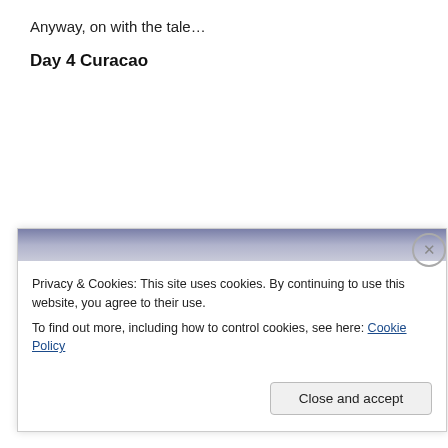Anyway, on with the tale…
Day 4 Curacao
Privacy & Cookies: This site uses cookies. By continuing to use this website, you agree to their use.
To find out more, including how to control cookies, see here: Cookie Policy
Close and accept